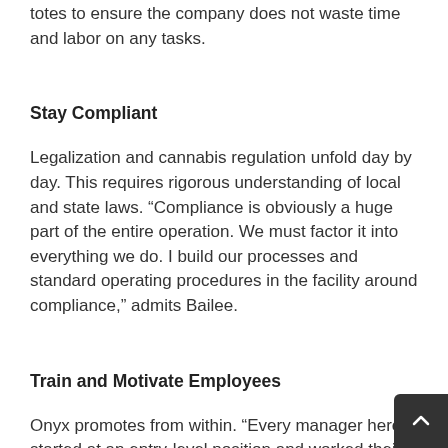totes to ensure the company does not waste time and labor on any tasks.
Stay Compliant
Legalization and cannabis regulation unfold day by day. This requires rigorous understanding of local and state laws. “Compliance is obviously a huge part of the entire operation. We must factor it into everything we do. I build our processes and standard operating procedures in the facility around compliance,” admits Bailee.
Train and Motivate Employees
Onyx promotes from within. “Every manager here started at an entry-level position and worked their way up, mys included. That makes it easy for employees to be